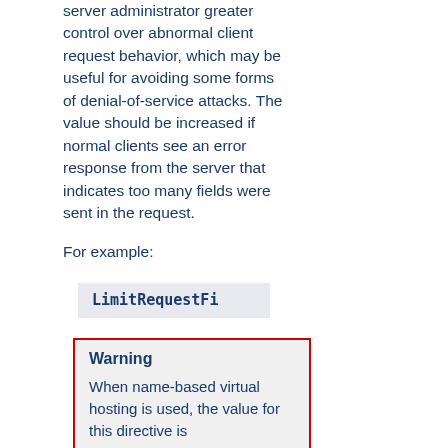server administrator greater control over abnormal client request behavior, which may be useful for avoiding some forms of denial-of-service attacks. The value should be increased if normal clients see an error response from the server that indicates too many fields were sent in the request.
For example:
LimitRequestFi
Warning
When name-based virtual hosting is used, the value for this directive is